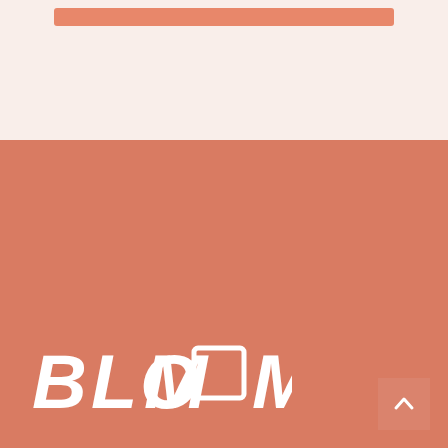[Figure (illustration): Top salmon/pink bar element partially visible at top of page on light pink background]
[Figure (logo): BLOOM logo in white italic bold font on salmon/terracotta background, with a square outline replacing the second O]
JOIN OUR COMMUNITY
[Figure (illustration): Two teal circular social media icon buttons: Facebook (f) and Instagram (camera icon)]
[Figure (illustration): Back to top arrow button in bottom right corner, semi-transparent salmon color with upward chevron]